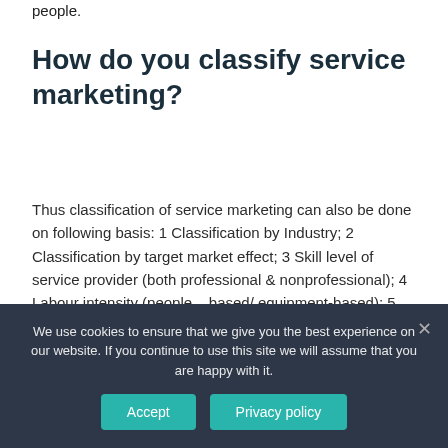people.
How do you classify service marketing?
Thus classification of service marketing can also be done on following basis: 1 Classification by Industry; 2 Classification by target market effect; 3 Skill level of service provider (both professional & nonprofessional); 4 Labour intensity (people – based/ equipment-based); 5 Degree of customer contact.
We use cookies to ensure that we give you the best experience on our website. If you continue to use this site we will assume that you are happy with it.